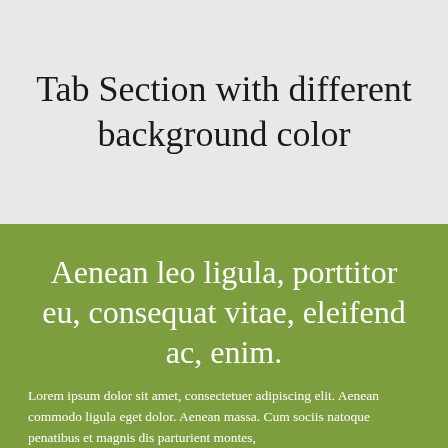Tab Section with different background color
Aenean leo ligula, porttitor eu, consequat vitae, eleifend ac, enim.
Lorem ipsum dolor sit amet, consectetuer adipiscing elit. Aenean commodo ligula eget dolor. Aenean massa. Cum sociis natoque penatibus et magnis dis parturient montes, nascetur ridiculus mus.